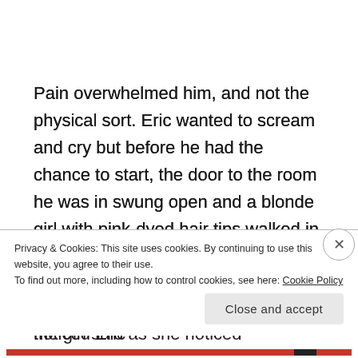Pain overwhelmed him, and not the physical sort. Eric wanted to scream and cry but before he had the chance to start, the door to the room he was in swung open and a blonde girl with pink-dyed hair tips walked in with all the confidence in the world.
“Oh, he’s awake!” the girl said as she noticed Eric’
Privacy & Cookies: This site uses cookies. By continuing to use this website, you agree to their use.
To find out more, including how to control cookies, see here: Cookie Policy
Close and accept